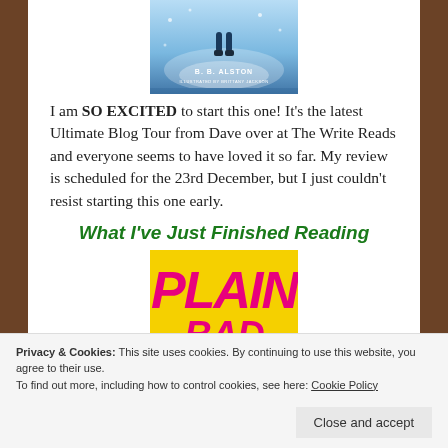[Figure (illustration): Book cover showing a figure in winter/fantasy setting with text B. B. ALSTON, ILLUSTRATED BY BRITTANY JACKSON]
I am SO EXCITED to start this one! It's the latest Ultimate Blog Tour from Dave over at The Write Reads and everyone seems to have loved it so far. My review is scheduled for the 23rd December, but I just couldn't resist starting this one early.
What I've Just Finished Reading
[Figure (illustration): Book cover with yellow background and large pink text reading PLAIN]
Privacy & Cookies: This site uses cookies. By continuing to use this website, you agree to their use.
To find out more, including how to control cookies, see here: Cookie Policy
Close and accept